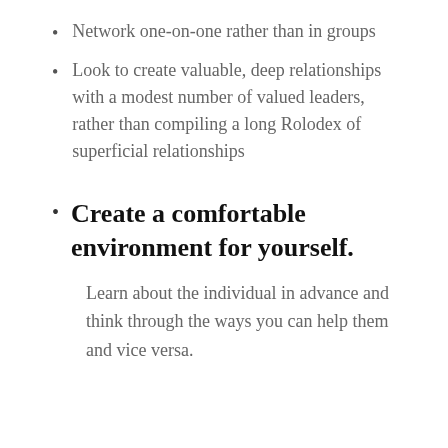Network one-on-one rather than in groups
Look to create valuable, deep relationships with a modest number of valued leaders, rather than compiling a long Rolodex of superficial relationships
Create a comfortable environment for yourself.
Learn about the individual in advance and think through the ways you can help them and vice versa.